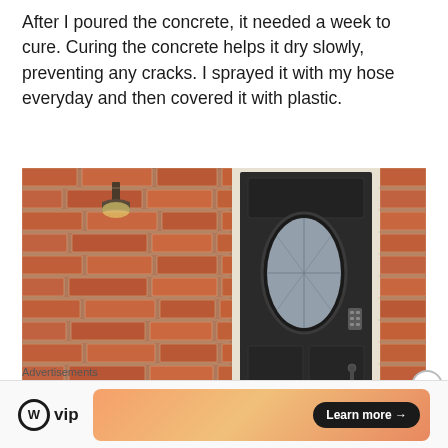After I poured the concrete, it needed a week to cure. Curing the concrete helps it dry slowly, preventing any cracks. I sprayed it with my hose everyday and then covered it with plastic.
[Figure (photo): Photograph of a brick wall exterior with a dark black front door featuring an oval decorative glass window insert. A wall-mounted light fixture is visible on the left. The door has a black door handle and a keypad lock on the right side.]
Advertisements
[Figure (logo): WordPress VIP logo: a circle with W inside followed by 'vip' text]
[Figure (infographic): Advertisement banner with orange/peach gradient background and a 'Learn more →' button in dark rounded rectangle]